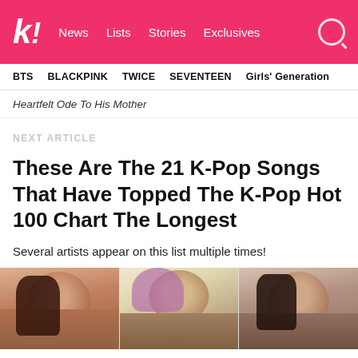k! News Lists Stories Exclusives
BTS  BLACKPINK  TWICE  SEVENTEEN  Girls' Generation
Heartfelt Ode To His Mother
NEXT ARTICLE
These Are The 21 K-Pop Songs That Have Topped The K-Pop Hot 100 Chart The Longest
Several artists appear on this list multiple times!
[Figure (photo): Three people side by side: a person with long dark hair on the left, a person with short purple/pink hair in the center, and a person with long dark hair on the right]